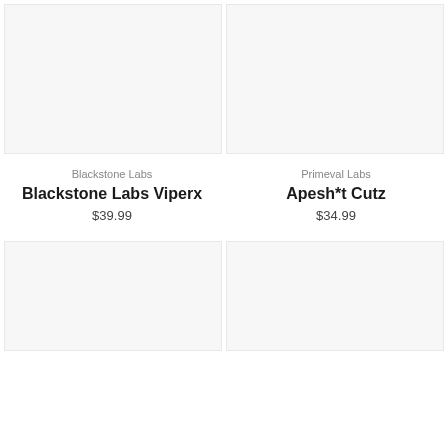[Figure (photo): Product image placeholder (light gray background) for Blackstone Labs Viperx, top-left]
[Figure (photo): Product image placeholder (light gray background) for Apesh*t Cutz, top-right]
Blackstone Labs
Blackstone Labs Viperx
$39.99
Primeval Labs
Apesh*t Cutz
$34.99
[Figure (photo): Product image placeholder (light gray background), bottom-left]
[Figure (photo): Product image placeholder (light gray background), bottom-right]